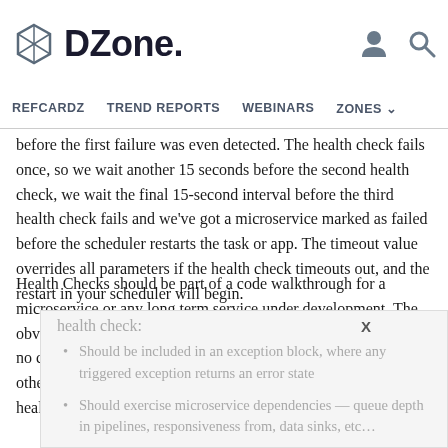DZone. [logo with user icon and search icon]
REFCARDZ   TREND REPORTS   WEBINARS   ZONES
before the first failure was even detected. The health check fails once, so we wait another 15 seconds before the second health check, we wait the final 15-second interval before the third health check fails and we've got a microservice marked as failed before the scheduler restarts the task or app. The timeout value overrides all parameters if the health check timeouts out, and the restart in your scheduler will begin.
Health Checks should be part of a code walkthrough for a microservice or any long term service under development. The obvious “worst-case practice” is to omit a health check. There is no clear cut “best practice” and that is why it is wise to have others challenge a microservice developers decision on the health check implementation. Minimally a health check:
Should be included in an exception block, where any triggered exception returns an error state
Should exercise microservice dependencies — queue depth in pipelines, responsiveness from, data sinks, etc…